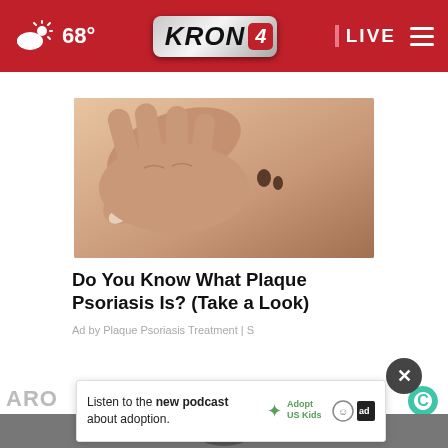68° KRON 4 LIVE
[Figure (photo): Close-up photo of a hand touching skin with small dark spots, related to plaque psoriasis article]
Do You Know What Plaque Psoriasis Is? (Take a Look)
Ad by Plaque Psoriasis Treatment | S
Listen to the new podcast about adoption.
[Figure (logo): Adopt US Kids logo with person icon and ad badge]
ARO
[Figure (photo): Bottom thumbnail image strip]